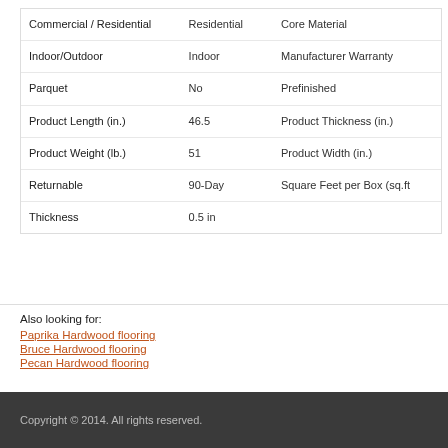| Attribute | Value | Attribute2 |
| --- | --- | --- |
| Commercial / Residential | Residential | Core Material |
| Indoor/Outdoor | Indoor | Manufacturer Warranty |
| Parquet | No | Prefinished |
| Product Length (in.) | 46.5 | Product Thickness (in.) |
| Product Weight (lb.) | 51 | Product Width (in.) |
| Returnable | 90-Day | Square Feet per Box (sq.ft) |
| Thickness | 0.5 in |  |
Also looking for:
Paprika Hardwood flooring
Bruce Hardwood flooring
Pecan Hardwood flooring
Copyright © 2014. All rights reserved.